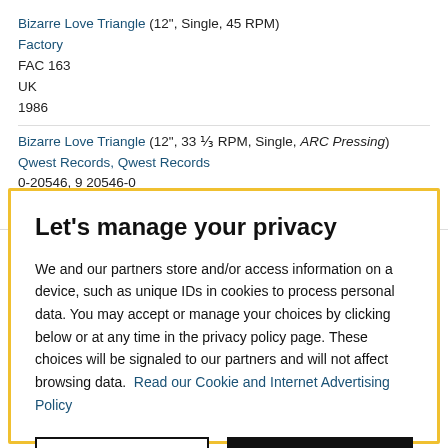Bizarre Love Triangle (12", Single, 45 RPM)
Factory
FAC 163
UK
1986
Bizarre Love Triangle (12", 33 ⅓ RPM, Single, ARC Pressing)
Qwest Records, Qwest Records
0-20546, 9 20546-0
US
Let's manage your privacy
We and our partners store and/or access information on a device, such as unique IDs in cookies to process personal data. You may accept or manage your choices by clicking below or at any time in the privacy policy page. These choices will be signaled to our partners and will not affect browsing data. Read our Cookie and Internet Advertising Policy